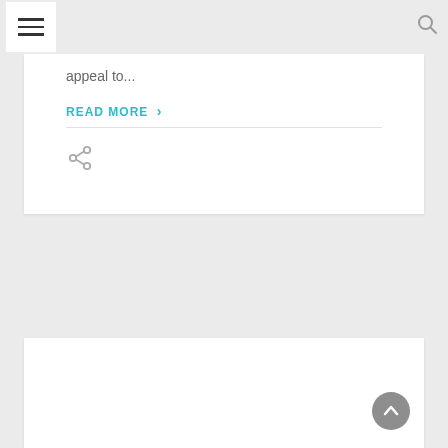[hamburger menu icon] [search icon]
appeal to...
READ MORE >
[Figure (other): Share icon (social sharing button)]
[Figure (other): Scroll to top button (upward chevron in grey circle)]